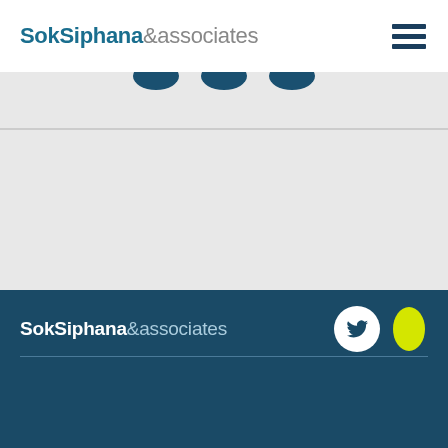SokSiphana&associates
[Figure (screenshot): Website screenshot of SokSiphana & associates law firm. Top white header with logo and hamburger menu. Below is a gray content section with partial social media circle icons visible. Footer section is dark teal/navy with logo, Twitter and another social icon, and a dividing line.]
SokSiphana&associates